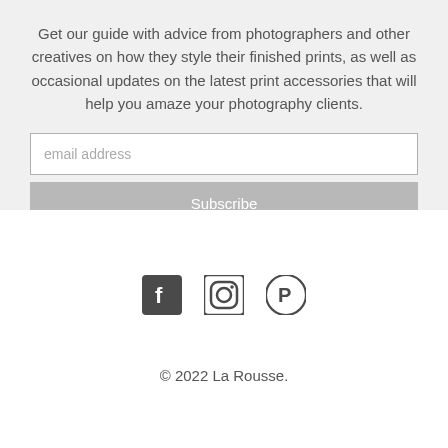Get our guide with advice from photographers and other creatives on how they style their finished prints, as well as occasional updates on the latest print accessories that will help you amaze your photography clients.
[Figure (screenshot): Email input field with placeholder 'email address' and a grey Subscribe button below it]
[Figure (infographic): Social media icons: Facebook, Instagram, Pinterest]
© 2022 La Rousse.